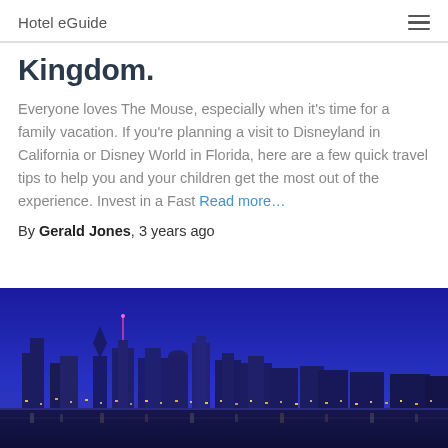Hotel eGuide
Kingdom.
Everyone loves The Mouse, especially when it's time for a family vacation. If you're planning a visit to Disneyland in California or Disney World in Florida, here are a few quick travel tips to help you and your children get the most out of the experience. Invest in a Fast Read more…
By Gerald Jones, 3 years ago
[Figure (photo): City skyline at night with blue sky and illuminated buildings]